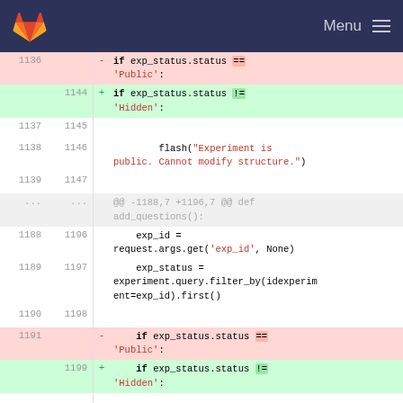GitLab navigation bar with logo and Menu
[Figure (screenshot): Git diff view showing code changes in a Python file. Deleted lines (red) show 'if exp_status.status == Public' and added lines (green) show 'if exp_status.status != Hidden'. Context lines include flash message, exp_id and exp_status assignments, and repeated diff hunk.]
1136 - if exp_status.status == 'Public':
1144 + if exp_status.status != 'Hidden':
1137 1145
1138 1146   flash("Experiment is public. Cannot modify structure.")
1139 1147
... ...  @@ -1188,7 +1196,7 @@ def add_questions():
1188 1196   exp_id = request.args.get('exp_id', None)
1189 1197   exp_status = experiment.query.filter_by(idexperiment=exp_id).first()
1190 1198
1191 -    if exp_status.status == 'Public':
1199 +    if exp_status.status != 'Hidden':